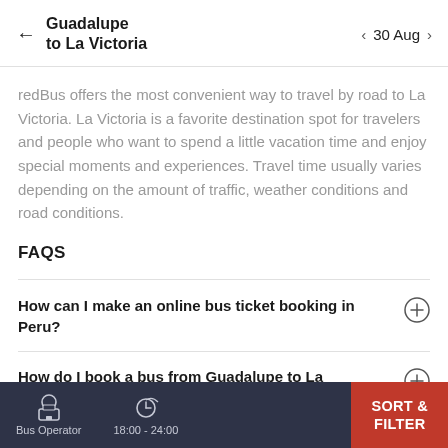Guadalupe to La Victoria  ← 30 Aug →
redBus offers the most convenient way to travel by road to La Victoria. La Victoria is a favorite destination spot for travelers and people who want to spend a little vacation time and enjoy special moments and experiences. Travel time usually varies depending on the amount of traffic, weather conditions and road conditions.
FAQS
How can I make an online bus ticket booking in Peru?
How do I book a bus from Guadalupe to La
Bus Operator  18:00 - 24:00  SORT & FILTER